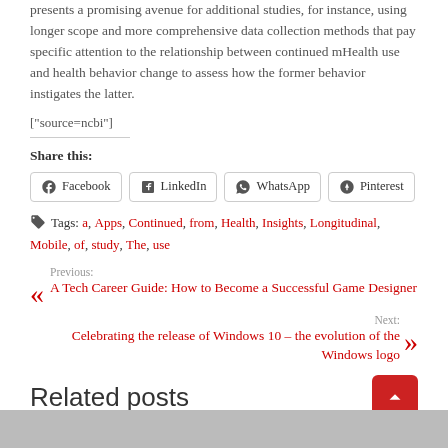presents a promising avenue for additional studies, for instance, using longer scope and more comprehensive data collection methods that pay specific attention to the relationship between continued mHealth use and health behavior change to assess how the former behavior instigates the latter.
["source=ncbi"]
Share this:
Facebook
LinkedIn
WhatsApp
Pinterest
Tags: a, Apps, Continued, from, Health, Insights, Longitudinal, Mobile, of, study, The, use
Previous: A Tech Career Guide: How to Become a Successful Game Designer
Next: Celebrating the release of Windows 10 – the evolution of the Windows logo
Related posts